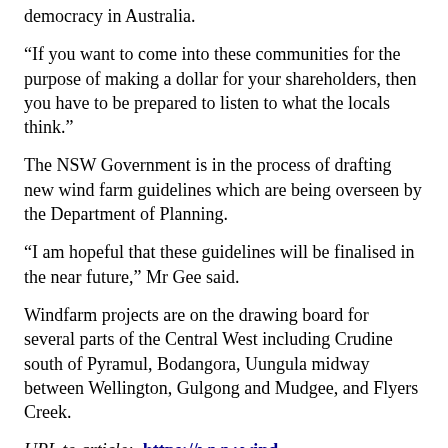democracy in Australia.
“If you want to come into these communities for the purpose of making a dollar for your shareholders, then you have to be prepared to listen to what the locals think.”
The NSW Government is in the process of drafting new wind farm guidelines which are being overseen by the Department of Planning.
“I am hopeful that these guidelines will be finalised in the near future,” Mr Gee said.
Windfarm projects are on the drawing board for several parts of the Central West including Crudine south of Pyramul, Bodangora, Uungula midway between Wellington, Gulgong and Mudgee, and Flyers Creek.
URL to article:  https://www.wind-watch.org/news/2011/10/24/gee-welcomes-move-to-wind-farm-guidelines/